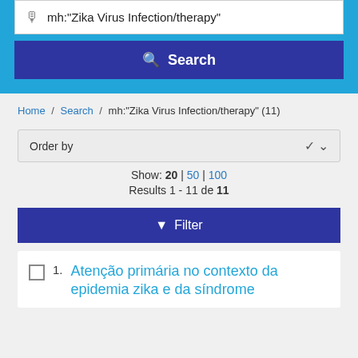mh:"Zika Virus Infection/therapy"
Search
Home / Search / mh:"Zika Virus Infection/therapy" (11)
Order by
Show: 20 | 50 | 100
Results 1 - 11 de 11
Filter
1. Atenção primária no contexto da epidemia zika e da síndrome